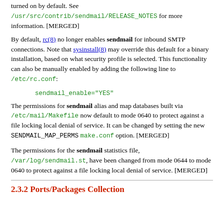turned on by default. See /usr/src/contrib/sendmail/RELEASE_NOTES for more information. [MERGED]
By default, rc(8) no longer enables sendmail for inbound SMTP connections. Note that sysinstall(8) may override this default for a binary installation, based on what security profile is selected. This functionality can also be manually enabled by adding the following line to /etc/rc.conf:
The permissions for sendmail alias and map databases built via /etc/mail/Makefile now default to mode 0640 to protect against a file locking local denial of service. It can be changed by setting the new SENDMAIL_MAP_PERMS make.conf option. [MERGED]
The permissions for the sendmail statistics file, /var/log/sendmail.st, have been changed from mode 0644 to mode 0640 to protect against a file locking local denial of service. [MERGED]
2.3.2 Ports/Packages Collection